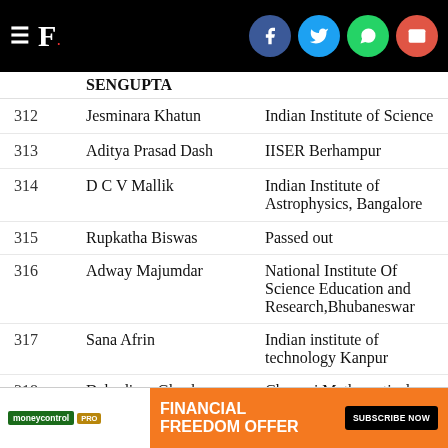F. [Financial Express logo with social media icons]
| # | Name | Institution |
| --- | --- | --- |
|  | SENGUPTA |  |
| 312 | Jesminara Khatun | Indian Institute of Science |
| 313 | Aditya Prasad Dash | IISER Berhampur |
| 314 | D C V Mallik | Indian Institute of Astrophysics, Bangalore |
| 315 | Rupkatha Biswas | Passed out |
| 316 | Adway Majumdar | National Institute Of Science Education and Research,Bhubaneswar |
| 317 | Sana Afrin | Indian institute of technology Kanpur |
| 318 | Debodirna Ghosh | Chennai Mathematical Institute |
| 319 | Subhashis Banerjee | IIT Delhi |
| 320 | Venakata Lokesh | Indian Institute of Science |
| 321 | MD SAZEDUP R... | Tata Institute of Fundamental... |
[Figure (infographic): Moneycontrol PRO Financial Freedom Offer advertisement banner with Subscribe Now button]